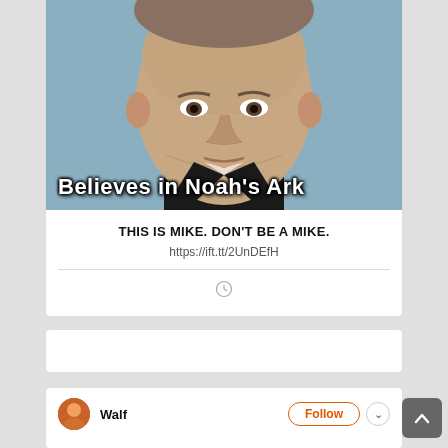[Figure (photo): Close-up photo of a middle-aged man in a dark suit with white shirt, cropped at the chin level, on a blue-grey background. Overlaid text reads 'Believes in Noah's Ark' in bold white with black outline.]
THIS IS MIKE. DON’T BE A MIKE.
https://ift.tt/2UnDEfH
[Figure (other): Empty white card section]
[Figure (other): Partial bottom card showing avatar icon labeled 'Walf' with a Follow button and chevron]